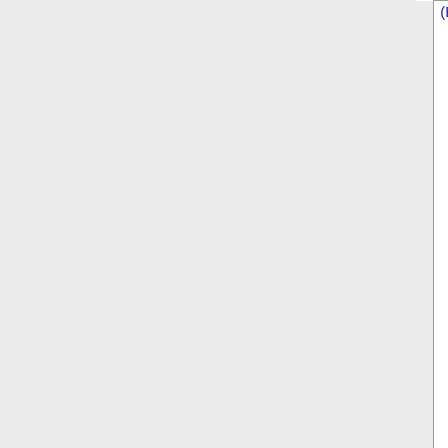|  | Phone | State | Carrier | Rate Center | City | ... |
| --- | --- | --- | --- | --- | --- | --- |
|  | (Bellsouth) |  |  |  |  |  |
|  | 305-453-6 | FL | COMCAST IP PHONE, LLC | 318J | KEYS | PH... |